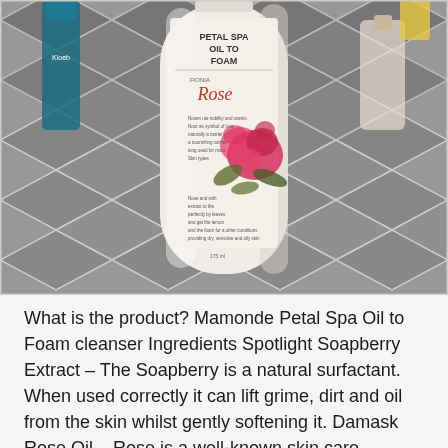[Figure (photo): A white cylindrical bottle of Mamonde Petal Spa Oil to Foam cleanser with a rose illustration and script text, sitting on a geometric patterned tile floor with other skincare bottles in the background.]
What is the product? Mamonde Petal Spa Oil to Foam cleanser Ingredients Spotlight Soapberry Extract – The Soapberry is a natural surfactant. When used correctly it can lift grime, dirt and oil from the skin whilst gently softening it. Damask Rose Oil – Rose is a well-known skin care